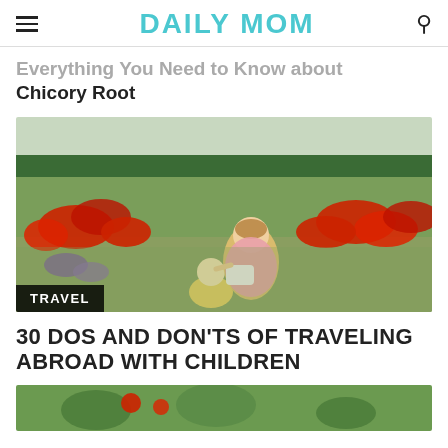DAILY MOM
Everything You Need to Know about Chicory Root
[Figure (photo): A mother and young child playing together in a field of red poppies and wildflowers, with trees in the background. A TRAVEL badge overlays the bottom-left corner of the image.]
30 DOS AND DON'TS OF TRAVELING ABROAD WITH CHILDREN
[Figure (photo): Partial bottom image, partially cut off at the bottom of the page.]